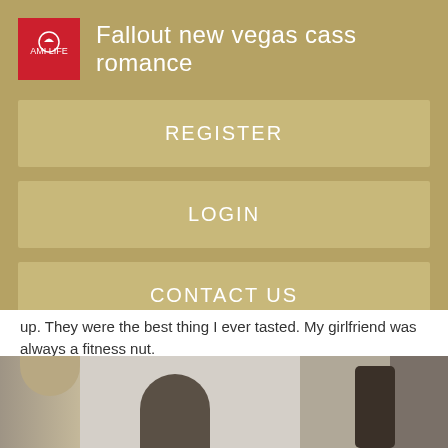Fallout new vegas cass romance
REGISTER
LOGIN
CONTACT US
up. They were the best thing I ever tasted. My girlfriend was always a fitness nut.
[Figure (photo): Partial view of a room interior with curtains and silhouetted figures]